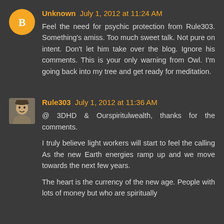Unknown July 1, 2012 at 11:24 AM
Feel the need for psychic protection from Rule303. Something's amiss. Too much sweet talk. Not pure on intent. Don't let him take over the blog. Ignore his comments. This is your only warning from Owl. I'm going back into my tree and get ready for meditation.
Rule303 July 1, 2012 at 11:36 AM
@ 3DHD & Ourspiritulwealth, thanks for the comments.

I truly believe light workers will start to feel the calling As the new Earth energies ramp up and we move towards the next few years.

The heart is the currency of the new age. People with lots of money but who are spiritually